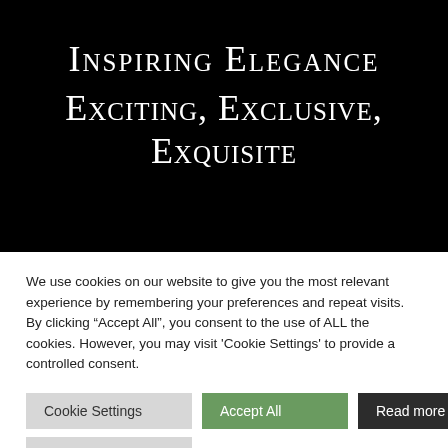Inspiring Elegance Exciting, Exclusive, Exquisite
We use cookies on our website to give you the most relevant experience by remembering your preferences and repeat visits. By clicking “Accept All”, you consent to the use of ALL the cookies. However, you may visit 'Cookie Settings' to provide a controlled consent.
Cookie Settings
Accept All
Read more
Reject All